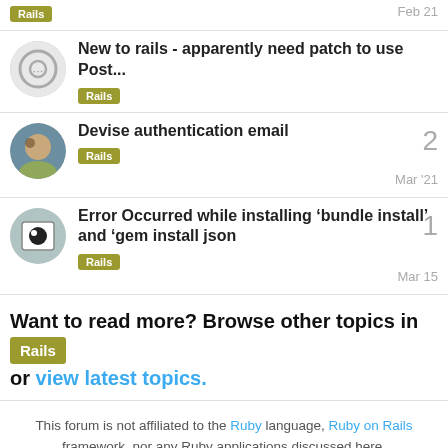Rails | Feb 21
New to rails - apparently need patch to use Post... | Rails
Devise authentication email | Rails | 2 | Mar '21
Error Occurred while installing ‘bundle install’ and ‘gem install json | Rails | 1 | Mar 15
Want to read more? Browse other topics in Rails or view latest topics.
This forum is not affiliated to the Ruby language, Ruby on Rails framework, nor any Ruby applications discussed here.
Sponsor our Newsletter | Privacy Policy | Terms of Service | Remote Ruby Jobs